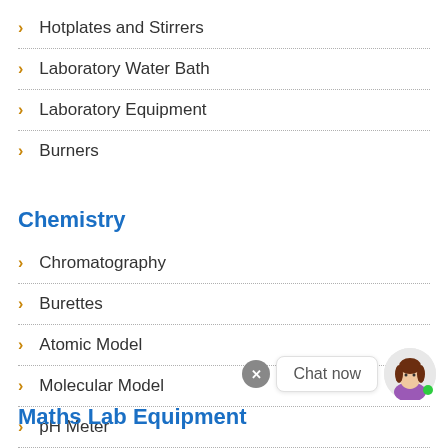Hotplates and Stirrers
Laboratory Water Bath
Laboratory Equipment
Burners
Chemistry
Chromatography
Burettes
Atomic Model
Molecular Model
pH Meter
Chemistry Lab Equipment
[Figure (illustration): Chat now widget with close button, chat bubble saying 'Chat now', and avatar of a woman with brown hair]
Maths Lab Equipment